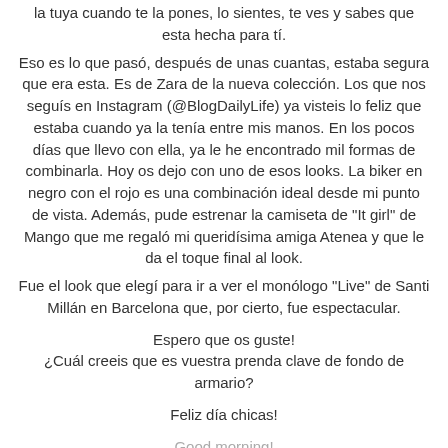la tuya cuando te la pones, lo sientes, te ves y sabes que esta hecha para tí.
Eso es lo que pasó, después de unas cuantas, estaba segura que era esta. Es de Zara de la nueva colección. Los que nos seguís en Instagram (@BlogDailyLife) ya visteis lo feliz que estaba cuando ya la tenía entre mis manos. En los pocos días que llevo con ella, ya le he encontrado mil formas de combinarla. Hoy os dejo con uno de esos looks. La biker en negro con el rojo es una combinación ideal desde mi punto de vista. Además, pude estrenar la camiseta de "It girl" de Mango que me regaló mi queridísima amiga Atenea y que le da el toque final al look.
Fue el look que elegí para ir a ver el monólogo "Live" de Santi Millán en Barcelona que, por cierto, fue espectacular.
Espero que os guste!
¿Cuál creeis que es vuestra prenda clave de fondo de armario?
Feliz día chicas!
Good morning!
At last Friday daily...